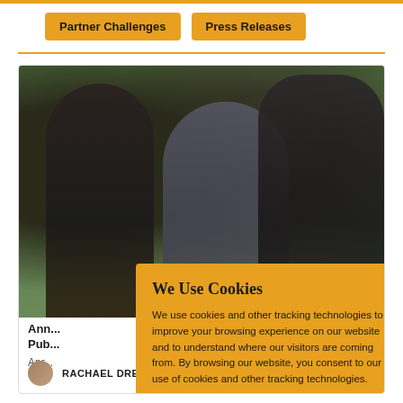Partner Challenges
Press Releases
[Figure (photo): Three people outdoors, including what appears to be a police officer and two civilians in conversation.]
Ann... Pub...
Apr...
We Use Cookies
We use cookies and other tracking technologies to improve your browsing experience on our website and to understand where our visitors are coming from. By browsing our website, you consent to our use of cookies and other tracking technologies.
ACCEPT
REJECT
RACHAEL DREW